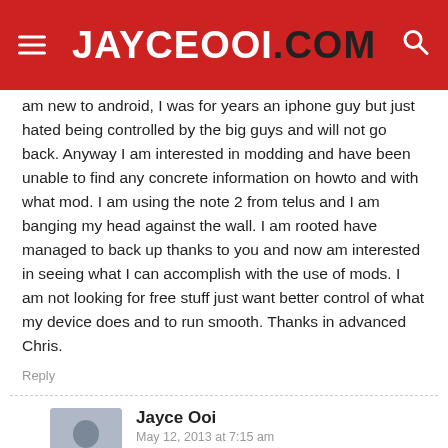JayceOoi.Com
am new to android, I was for years an iphone guy but just hated being controlled by the big guys and will not go back. Anyway I am interested in modding and have been unable to find any concrete information on howto and with what mod. I am using the note 2 from telus and I am banging my head against the wall. I am rooted have managed to back up thanks to you and now am interested in seeing what I can accomplish with the use of mods. I am not looking for free stuff just want better control of what my device does and to run smooth. Thanks in advanced Chris.
Reply
Jayce Ooi
May 12, 2013 at 7:15 am
Hi Chris, free feel to read more article about Galaxy Note 2 at my blog then.
https://www.jayceooi.com/tag/samsung-galaxy-note-2/